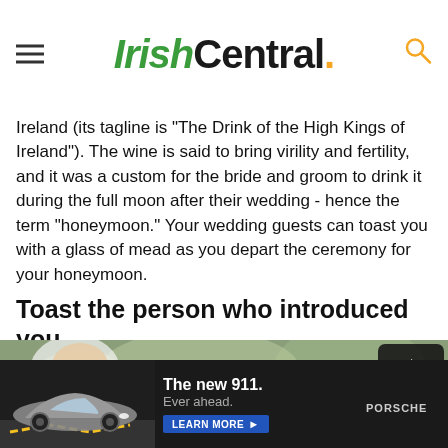IrishCentral.
Ireland (its tagline is "The Drink of the High Kings of Ireland"). The wine is said to bring virility and fertility, and it was a custom for the bride and groom to drink it during the full moon after their wedding - hence the term "honeymoon." Your wedding guests can toast you with a glass of mead as you depart the ceremony for your honeymoon.
Toast the person who introduced you
[Figure (photo): Wedding scene showing a groom pouring champagne into glasses, with bride in white dress in background, outdoor setting]
[Figure (infographic): Advertisement banner for Porsche 911 with dark background, car image, text 'The new 911. Ever ahead.' and a Learn More button, Porsche logo]